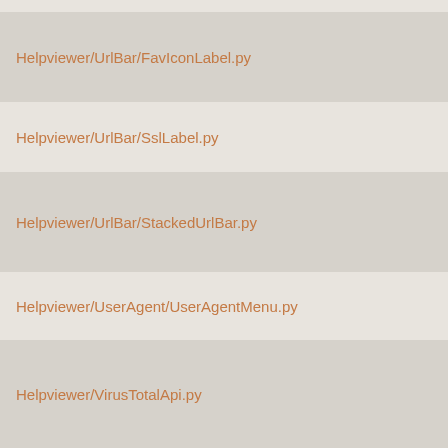Helpviewer/UrlBar/FavIconLabel.py
Helpviewer/UrlBar/SslLabel.py
Helpviewer/UrlBar/StackedUrlBar.py
Helpviewer/UserAgent/UserAgentMenu.py
Helpviewer/VirusTotalApi.py